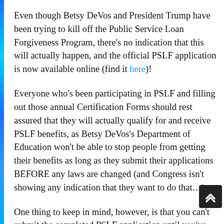Even though Betsy DeVos and President Trump have been trying to kill off the Public Service Loan Forgiveness Program, there's no indication that this will actually happen, and the official PSLF application is now available online (find it here)!
Everyone who's been participating in PSLF and filling out those annual Certification Forms should rest assured that they will actually qualify for and receive PSLF benefits, as Betsy DeVos's Department of Education won't be able to stop people from getting their benefits as long as they submit their applications BEFORE any laws are changed (and Congress isn't showing any indication that they want to do that…).
One thing to keep in mind, however, is that you can't submit the completed PSLF application until you've fully satisfied the program's requirements, so do